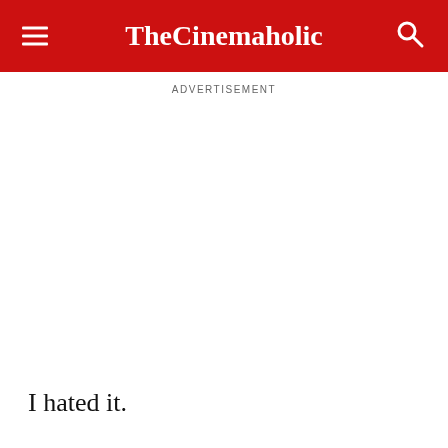TheCinemaholic
ADVERTISEMENT
I hated it.